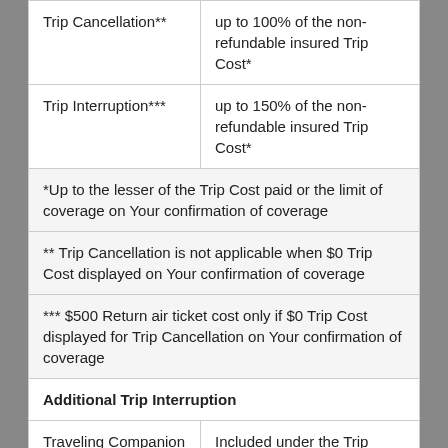| Trip Cancellation** | up to 100% of the non-refundable insured Trip Cost* |
| Trip Interruption*** | up to 150% of the non-refundable insured Trip Cost* |
*Up to the lesser of the Trip Cost paid or the limit of coverage on Your confirmation of coverage
** Trip Cancellation is not applicable when $0 Trip Cost displayed on Your confirmation of coverage
*** $500 Return air ticket cost only if $0 Trip Cost displayed for Trip Cancellation on Your confirmation of coverage
Additional Trip Interruption
| Traveling Companion Hospitalization | Included under the Trip Interruption benefit maximum up to $200/day limited to 10 |